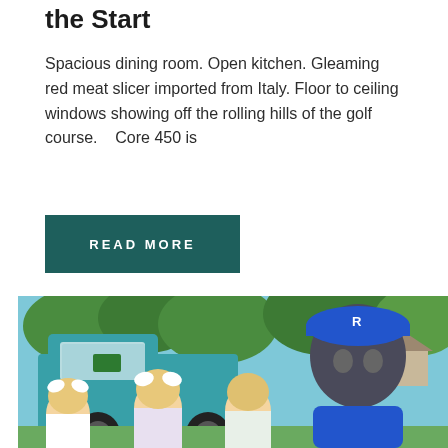the Start
Spacious dining room. Open kitchen. Gleaming red meat slicer imported from Italy. Floor to ceiling windows showing off the rolling hills of the golf course.    Core 450 is
READ MORE
[Figure (photo): Outdoor photo showing three young blonde girls posing with a blue costumed animal mascot (wolf or wildcat) wearing a blue beret. A teal/turquoise vintage pickup truck is in the background along with green trees and a suburban setting.]